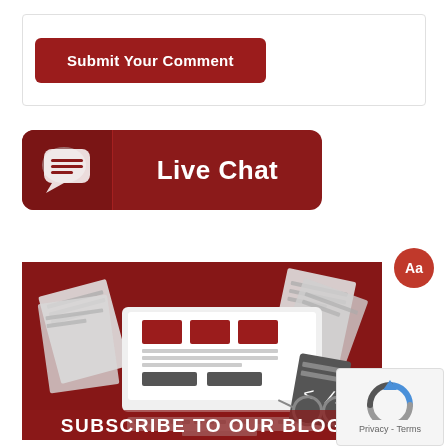[Figure (screenshot): Submit Your Comment button — dark red rounded rectangle button with white bold text]
[Figure (infographic): Live Chat banner — dark red rounded rectangle with chat bubble icon on left and 'Live Chat' text in white on right]
[Figure (infographic): Subscribe to Our Blog promotional image — dark red background with laptop showing web layout, papers, glasses, and white bold text 'SUBSCRIBE TO OUR BLOG']
[Figure (other): Aa badge — red circular badge with 'Aa' text]
[Figure (other): Privacy - Terms reCAPTCHA widget in bottom right corner]